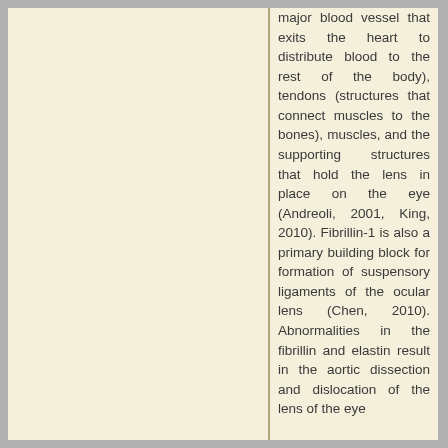major blood vessel that exits the heart to distribute blood to the rest of the body), tendons (structures that connect muscles to the bones), muscles, and the supporting structures that hold the lens in place on the eye (Andreoli, 2001, King, 2010). Fibrillin-1 is also a primary building block for formation of suspensory ligaments of the ocular lens (Chen, 2010). Abnormalities in the fibrillin and elastin result in the aortic dissection and dislocation of the lens of the eye